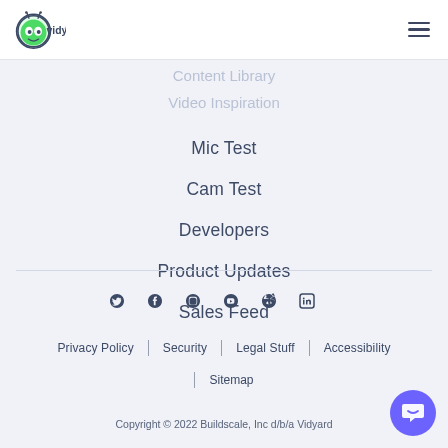[Figure (logo): Vidyard logo with green alien mascot and dark text]
Mic Test
Cam Test
Developers
Product Updates
Sales Feed
[Figure (infographic): Social media icons row: Twitter, Facebook, Instagram, YouTube, Dribbble, LinkedIn]
Privacy Policy | Security | Legal Stuff | Accessibility | Sitemap
Copyright © 2022 Buildscale, Inc d/b/a Vidyard